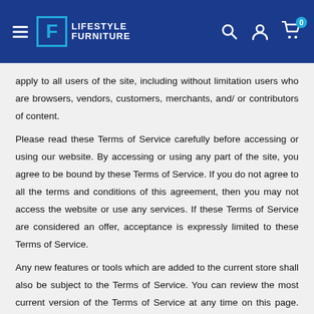Lifestyle Furniture
apply to all users of the site, including without limitation users who are browsers, vendors, customers, merchants, and/ or contributors of content.
Please read these Terms of Service carefully before accessing or using our website. By accessing or using any part of the site, you agree to be bound by these Terms of Service. If you do not agree to all the terms and conditions of this agreement, then you may not access the website or use any services. If these Terms of Service are considered an offer, acceptance is expressly limited to these Terms of Service.
Any new features or tools which are added to the current store shall also be subject to the Terms of Service. You can review the most current version of the Terms of Service at any time on this page. We reserve the right to update, change or replace any part